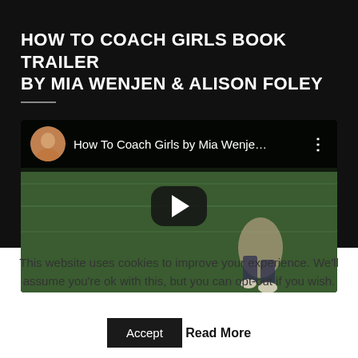HOW TO COACH GIRLS BOOK TRAILER BY MIA WENJEN & ALISON FOLEY
[Figure (screenshot): YouTube video thumbnail showing 'How To Coach Girls by Mia Wenje...' with a channel avatar, video title bar, and a play button overlay on a sports field background.]
This website uses cookies to improve your experience. We'll assume you're ok with this, but you can opt-out if you wish.
Accept   Read More